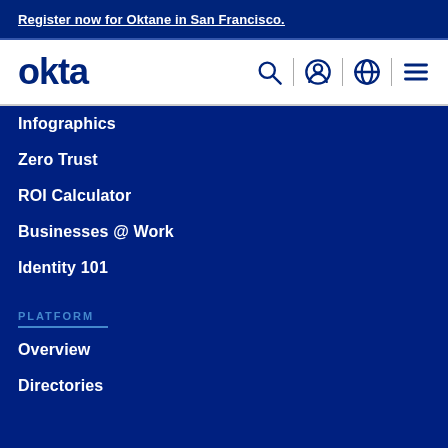Register now for Oktane in San Francisco.
[Figure (logo): Okta logo in dark blue with navigation icons: search, user account, globe, and hamburger menu]
Infographics
Zero Trust
ROI Calculator
Businesses @ Work
Identity 101
PLATFORM
Overview
Directories